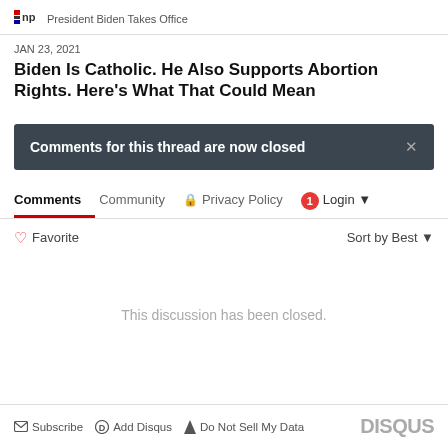npr  President Biden Takes Office
JAN 23, 2021
Biden Is Catholic. He Also Supports Abortion Rights. Here's What That Could Mean
Comments for this thread are now closed
Comments  Community  Privacy Policy  1  Login
Favorite  Sort by Best
This discussion has been closed.
Subscribe  Add Disqus  Do Not Sell My Data  DISQUS